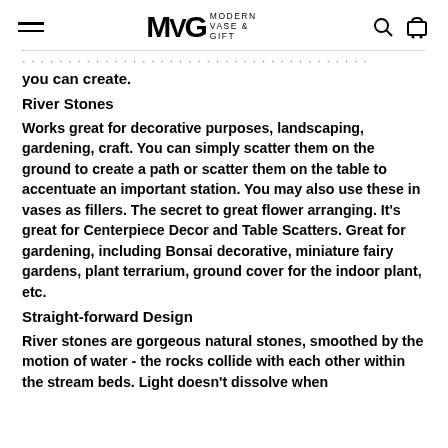MVG MODERN VASE & GIFT
you can create.
River Stones
Works great for decorative purposes, landscaping, gardening, craft. You can simply scatter them on the ground to create a path or scatter them on the table to accentuate an important station. You may also use these in vases as fillers. The secret to great flower arranging. It's great for Centerpiece Decor and Table Scatters. Great for gardening, including Bonsai decorative, miniature fairy gardens, plant terrarium, ground cover for the indoor plant, etc.
Straight-forward Design
River stones are gorgeous natural stones, smoothed by the motion of water - the rocks collide with each other within the stream beds. Light doesn't dissolve when